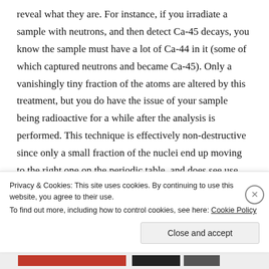reveal what they are. For instance, if you irradiate a sample with neutrons, and then detect Ca-45 decays, you know the sample must have a lot of Ca-44 in it (some of which captured neutrons and became Ca-45). Only a vanishingly tiny fraction of the atoms are altered by this treatment, but you do have the issue of your sample being radioactive for a while after the analysis is performed. This technique is effectively non-destructive since only a small fraction of the nuclei end up moving to the right one on the periodic table, and does see use, it’s called “Neutron Activation Analysis” (the neutrons
Privacy & Cookies: This site uses cookies. By continuing to use this website, you agree to their use.
To find out more, including how to control cookies, see here: Cookie Policy
Close and accept